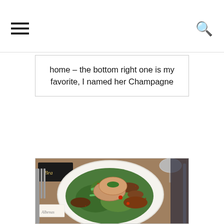navigation header with hamburger menu and search icon
home – the bottom right one is my favorite, I named her Champagne
[Figure (photo): Overhead photo of a restaurant plate with foie gras on toast, green beans, salad leaves, and mushrooms on a white plate, with cutlery and a wine glass visible on the table]